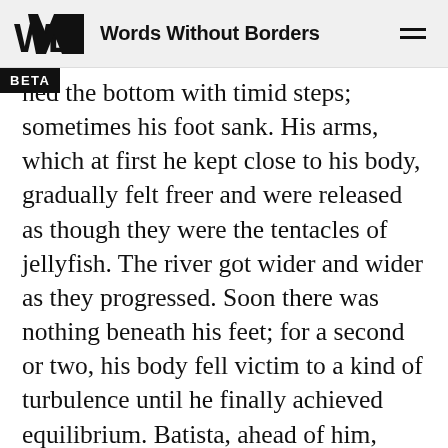Words Without Borders
ned the bottom with timid steps; sometimes his foot sank. His arms, which at first he kept close to his body, gradually felt freer and were released as though they were the tentacles of jellyfish. The river got wider and wider as they progressed. Soon there was nothing beneath his feet; for a second or two, his body fell victim to a kind of turbulence until he finally achieved equilibrium. Batista, ahead of him, turned toward him and gave a thumbs-up; in reply, Natanael copied the gesture from the diver who again ned his back on my friend. The dark substance, centimeter by centimeter, was erasing Batista.